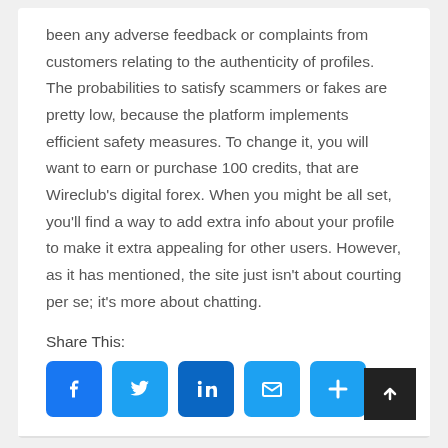been any adverse feedback or complaints from customers relating to the authenticity of profiles. The probabilities to satisfy scammers or fakes are pretty low, because the platform implements efficient safety measures. To change it, you will want to earn or purchase 100 credits, that are Wireclub’s digital forex. When you might be all set, you’ll find a way to add extra info about your profile to make it extra appealing for other users. However, as it has mentioned, the site just isn’t about courting per se; it’s more about chatting.
Share This:
[Figure (infographic): Row of five social share icon buttons: Facebook (blue), Twitter (light blue), LinkedIn (dark blue), Email/Mail (light blue), and More/Plus (light blue). A dark scroll-to-top button is at the bottom right.]